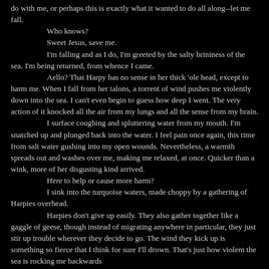do with me, or perhaps this is exactly what it wanted to do all along--let me fall.
	Who knows?
	Sweet Jesus, save me.
	I'm falling and as I do, I'm greeted by the salty brininess of the sea. I'm being returned, from whence I came.
	Aello? That Harpy has no sense in her thick 'ole head, except to harm me. When I fall from her talons, a torrent of wind pushes me violently down into the sea. I can't even begin to guess how deep I went. The very action of it knocked all the air from my lungs and all the sense from my brain.
	I surface coughing and spluttering water from my mouth. I'm snatched up and plunged back into the water. I feel pain once again, this time from salt water gushing into my open wounds. Nevertheless, a warmth spreads out and washes over me, making me relaxed, at once. Quicker than a wink, more of her disgusting kind arrived.
	Here to help or cause more harm?
	I sink into the turquoise waters, made choppy by a gathering of Harpies overhead.
	Harpies don't give up easily. They also gather together like a gaggle of geese, though instead of migrating anywhere in particular, they just stir up trouble wherever they decide to go. The wind they kick up is something so fierce that I think for sure I'll drown. That's just how violent the sea is rocking me backwards and from within their ranks...